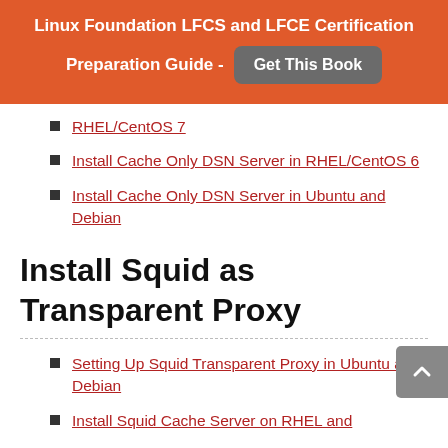Linux Foundation LFCS and LFCE Certification Preparation Guide - Get This Book
RHEL/CentOS 7
Install Cache Only DSN Server in RHEL/CentOS 6
Install Cache Only DSN Server in Ubuntu and Debian
Install Squid as Transparent Proxy
Setting Up Squid Transparent Proxy in Ubuntu and Debian
Install Squid Cache Server on RHEL and